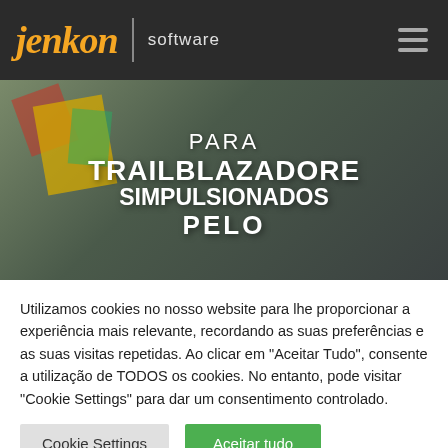[Figure (logo): Jenkon software logo with orange italic text 'jenkon', vertical divider, and 'software' text on dark background with hamburger menu icon]
[Figure (photo): Hero banner with dark overlaid photo of hands/papers, large white text: PARA TRAILBLAZADORES SIMPULSIONADOS PELO]
Utilizamos cookies no nosso website para lhe proporcionar a experiência mais relevante, recordando as suas preferências e as suas visitas repetidas. Ao clicar em "Aceitar Tudo", consente a utilização de TODOS os cookies. No entanto, pode visitar "Cookie Settings" para dar um consentimento controlado.
Cookie Settings
Aceitar tudo